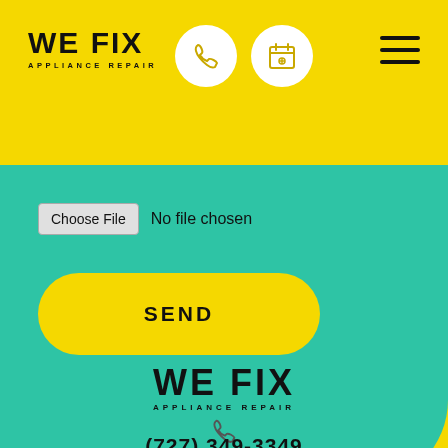[Figure (logo): WE FIX APPLIANCE REPAIR logo in bold black text on yellow background, top left header]
[Figure (illustration): Phone icon in white circle and calendar/schedule icon in white circle, navigation icons in header]
[Figure (illustration): Hamburger menu icon (three horizontal lines) in top right of header]
[Figure (screenshot): Teal/turquoise form section with Choose File input and SEND button on rounded yellow pill]
[Figure (logo): WE FIX APPLIANCE REPAIR logo centered in bottom yellow footer area]
[Figure (illustration): Phone handset icon centered below bottom logo]
(727) 349-3349